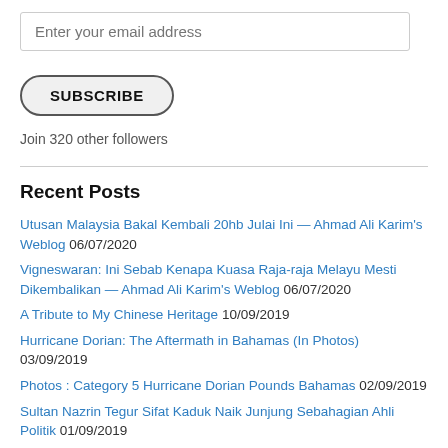Enter your email address
SUBSCRIBE
Join 320 other followers
Recent Posts
Utusan Malaysia Bakal Kembali 20hb Julai Ini — Ahmad Ali Karim's Weblog 06/07/2020
Vigneswaran: Ini Sebab Kenapa Kuasa Raja-raja Melayu Mesti Dikembalikan — Ahmad Ali Karim's Weblog 06/07/2020
A Tribute to My Chinese Heritage 10/09/2019
Hurricane Dorian: The Aftermath in Bahamas (In Photos) 03/09/2019
Photos : Category 5 Hurricane Dorian Pounds Bahamas 02/09/2019
Sultan Nazrin Tegur Sifat Kaduk Naik Junjung Sebahagian Ahli Politik 01/09/2019
Henti Nyala Api Perkauman, Permusuhan Antara Agama – Sultan Nazrin 01/09/2019